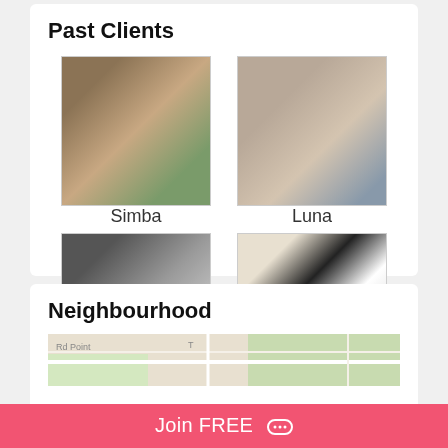Past Clients
[Figure (photo): Photo of a dog named Simba standing near plants against a brick wall]
Simba
[Figure (photo): Photo of a cat named Luna curled up sleeping]
Luna
[Figure (photo): Photo of a dark French Bulldog named Maddy lying down]
Maddy
[Figure (photo): Photo of a black and white Boston Terrier named Rocky standing]
Rocky
Neighbourhood
[Figure (map): Street map showing neighbourhood area with roads and green spaces]
Join FREE 💬